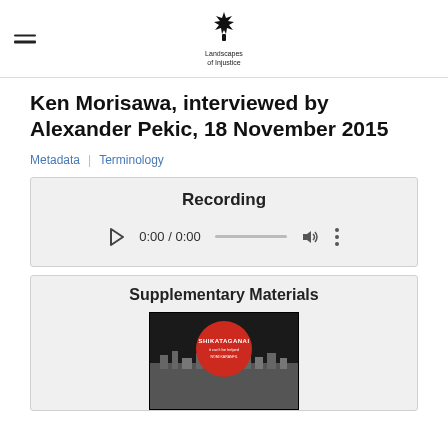Landscapes of Injustice
Ken Morisawa, interviewed by Alexander Pekic, 18 November 2015
Metadata | Terminology
Recording
0:00 / 0:00
Supplementary Materials
[Figure (photo): Book cover of 'Shikataganai' with a red circle logo on dark background with city photograph]